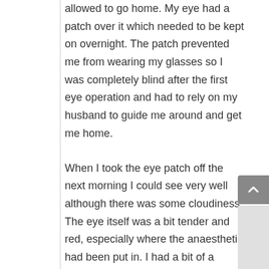allowed to go home. My eye had a patch over it which needed to be kept on overnight. The patch prevented me from wearing my glasses so I was completely blind after the first eye operation and had to rely on my husband to guide me around and get me home.
When I took the eye patch off the next morning I could see very well although there was some cloudiness. The eye itself was a bit tender and red, especially where the anaesthetic had been put in. I had a bit of a headache behind the eye for the first day and took paracetamol to relieve this. After about a week the cloudy vision and